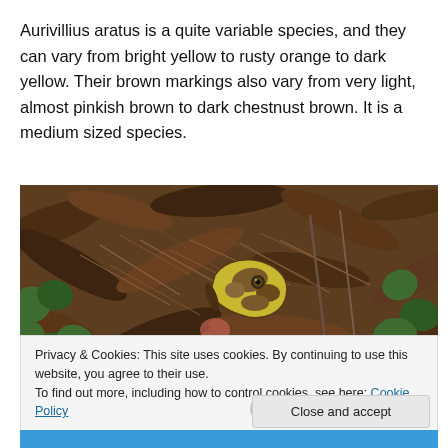Aurivillius aratus is a quite variable species, and they can vary from bright yellow to rusty orange to dark yellow. Their brown markings also vary from very light, almost pinkish brown to dark chestnust brown. It is a medium sized species.
[Figure (photo): A butterfly resting among brown dried leaves, pine needles, and green ivy leaves on the ground. The butterfly has yellow and brown patterned wings visible.]
Privacy & Cookies: This site uses cookies. By continuing to use this website, you agree to their use.
To find out more, including how to control cookies, see here: Cookie Policy